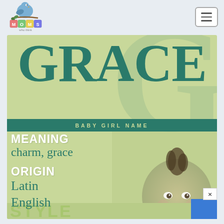[Figure (logo): Moms Who Think logo with a blue bird sitting on letter blocks spelling MOMS]
[Figure (infographic): Baby girl name infographic for GRACE showing a large teal GRACE title text on a light green background, with a baby photo on the right, showing MEANING: charm, grace and ORIGIN: Latin, English]
GRACE
BABY GIRL NAME
MEANING
charm, grace
ORIGIN
Latin
English
STYLE